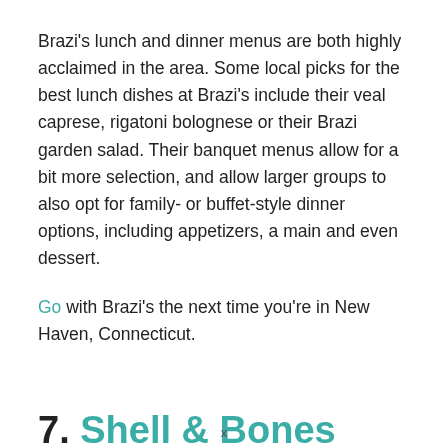Brazi's lunch and dinner menus are both highly acclaimed in the area. Some local picks for the best lunch dishes at Brazi's include their veal caprese, rigatoni bolognese or their Brazi garden salad. Their banquet menus allow for a bit more selection, and allow larger groups to also opt for family- or buffet-style dinner options, including appetizers, a main and even dessert.
Go with Brazi's the next time you're in New Haven, Connecticut.
7. Shell & Bones
x